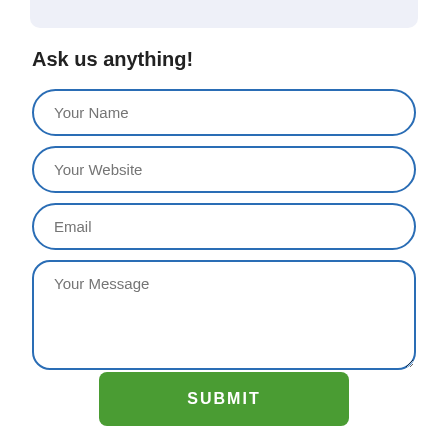Ask us anything!
Your Name
Your Website
Email
Your Message
SUBMIT